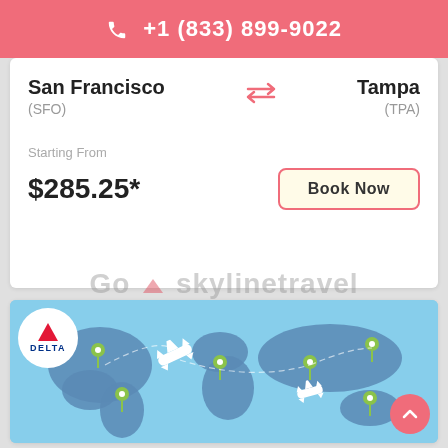+1 (833) 899-9022
San Francisco (SFO) ⇌ Tampa (TPA)
Starting From
$285.25*
Book Now
Goskylinetravel
[Figure (illustration): Delta Airlines branded world map illustration with airplane icons and green location pin markers showing various global destinations on a light blue background.]